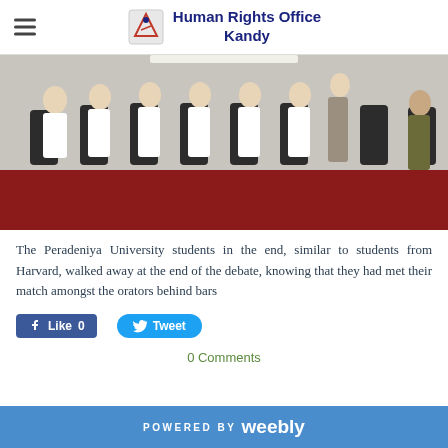Human Rights Office Kandy
[Figure (photo): People seated in a row of office chairs in a room with a red carpet floor, appearing to be students in white clothing at a meeting or debate]
The Peradeniya University students in the end, similar to students from Harvard, walked away at the end of the debate, knowing that they had met their match amongst the orators behind bars
Like 0  Tweet
0 Comments
POWERED BY weebly